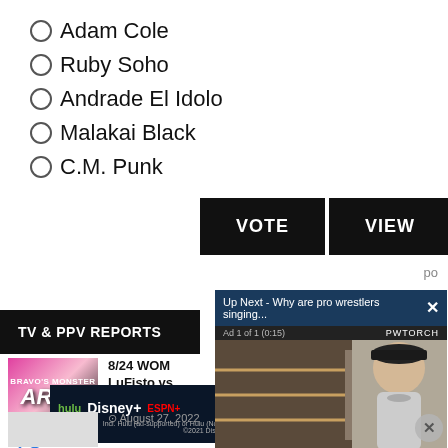Adam Cole
Ruby Soho
Andrade El Idolo
Malakai Black
C.M. Punk
VOTE  VIEW
po
TV & PPV REPORTS
8/24 WOM... LuFisto vs.... Scott  August 27...
[Figure (screenshot): Video popup: 'Up Next - Why are pro wrestlers singing...' with close button. Ad 1 of 1 (0:15), PWTORCH watermark. Preview shows a man in a black cap with mute button active. PWTorch logo watermarks visible. Close (X) button bottom right.]
[Figure (infographic): Disney Bundle advertisement: hulu, Disney+, ESPN+ logos with 'GET THE DISNEY BUNDLE' button. Fine print: Incl. Hulu (ad-supported) or Hulu (No Ads). Access content from each service separately. ©2021 Disney and its related entities. X close button top right.]
August 27, 2022
ander ... ch.